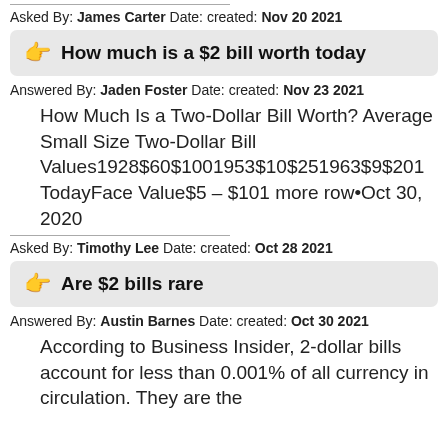Asked By: James Carter Date: created: Nov 20 2021
How much is a $2 bill worth today
Answered By: Jaden Foster Date: created: Nov 23 2021
How Much Is a Two-Dollar Bill Worth? Average Small Size Two-Dollar Bill Values1928$60$1001953$10$251963$9$201 TodayFace Value$5 – $101 more row•Oct 30, 2020
Asked By: Timothy Lee Date: created: Oct 28 2021
Are $2 bills rare
Answered By: Austin Barnes Date: created: Oct 30 2021
According to Business Insider, 2-dollar bills account for less than 0.001% of all currency in circulation. They are the